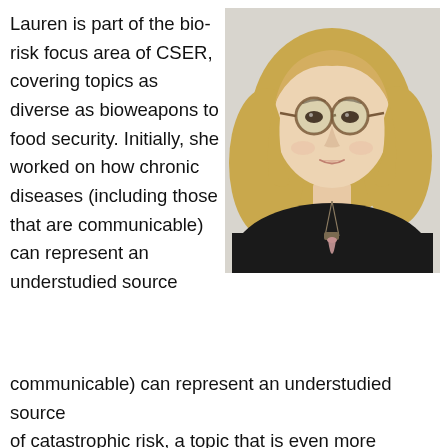Lauren is part of the bio-risk focus area of CSER, covering topics as diverse as bioweapons to food security. Initially, she worked on how chronic diseases (including those that are communicable) can represent an understudied source of catastrophic risk, a topic that is even more important
[Figure (photo): Portrait photo of a blonde woman with round tortoiseshell glasses, wearing a black top and a rose quartz pendant necklace, against a light grey background.]